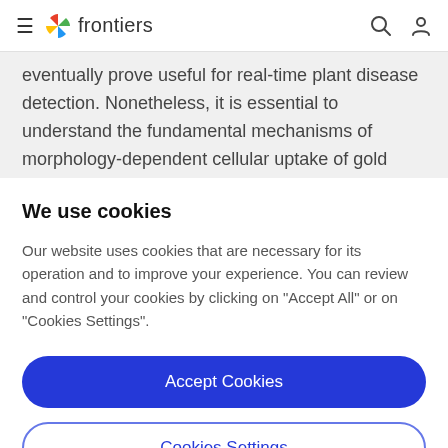frontiers
eventually prove useful for real-time plant disease detection. Nonetheless, it is essential to understand the fundamental mechanisms of morphology-dependent cellular uptake of gold nanoparticles, as well as their
We use cookies
Our website uses cookies that are necessary for its operation and to improve your experience. You can review and control your cookies by clicking on "Accept All" or on "Cookies Settings".
Accept Cookies
Cookies Settings